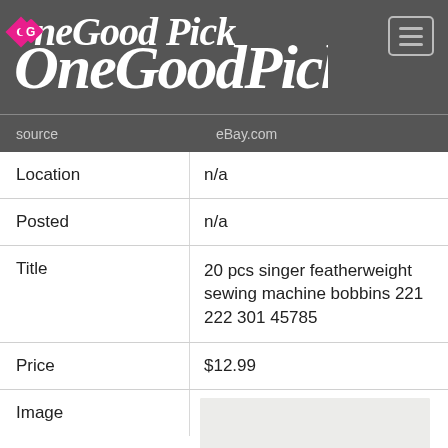[Figure (logo): One Good Pick logo in white script text on dark gray background with pink diamond accent, and hamburger menu icon top right]
| Field | Value |
| --- | --- |
| Location | n/a |
| Posted | n/a |
| Title | 20 pcs singer featherweight sewing machine bobbins 221 222 301 45785 |
| Price | $12.99 |
| Image | (product image of sewing machine) |
| Source | eBay.com |